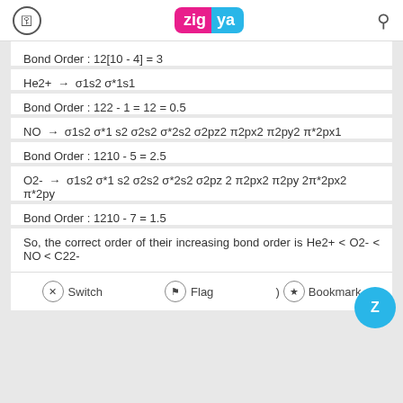Zigya
Bond Order : 12[10 - 4] = 3
He2+ → σ1s2 σ*1s1
Bond Order : 122 - 1 = 12 = 0.5
NO → σ1s2 σ*1 s2 σ2s2 σ*2s2 σ2pz2 π2px2 π2py2 π*2px1
Bond Order : 1210 - 5 = 2.5
O2- → σ1s2 σ*1 s2 σ2s2 σ*2s2 σ2pz 2 π2px2 π2py 2π*2px2 π*2py
Bond Order : 1210 - 7 = 1.5
So, the correct order of their increasing bond order is He2+ < O2- < NO < C22-
Switch  Flag  Bookmark